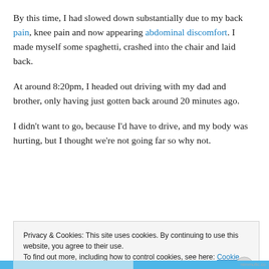By this time, I had slowed down substantially due to my back pain, knee pain and now appearing abdominal discomfort. I made myself some spaghetti, crashed into the chair and laid back.
At around 8:20pm, I headed out driving with my dad and brother, only having just gotten back around 20 minutes ago.
I didn't want to go, because I'd have to drive, and my body was hurting, but I thought we're not going far so why not.
Privacy & Cookies: This site uses cookies. By continuing to use this website, you agree to their use. To find out more, including how to control cookies, see here: Cookie Policy